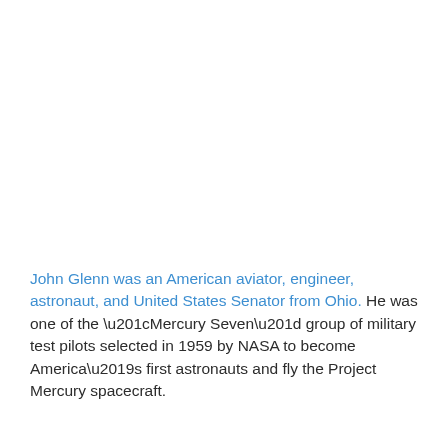John Glenn was an American aviator, engineer, astronaut, and United States Senator from Ohio. He was one of the “Mercury Seven” group of military test pilots selected in 1959 by NASA to become America’s first astronauts and fly the Project Mercury spacecraft.